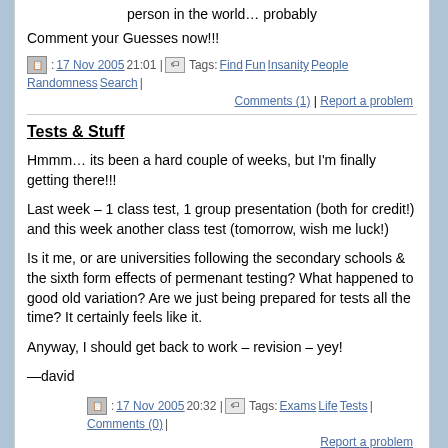person in the world… probably
Comment your Guesses now!!!
: 17 Nov 2005 21:01 | Tags: Find Fun Insanity People Randomness Search |
Comments (1) | Report a problem
Tests & Stuff
Hmmm… its been a hard couple of weeks, but I'm finally getting there!!!
Last week – 1 class test, 1 group presentation (both for credit!) and this week another class test (tomorrow, wish me luck!)
Is it me, or are universities following the secondary schools & the sixth form effects of permenant testing? What happened to good old variation? Are we just being prepared for tests all the time? It certainly feels like it.
Anyway, I should get back to work – revision – yey!
—david
: 17 Nov 2005 20:32 | Tags: Exams Life Tests | Comments (0) |
Report a problem
« Friday 18 November 2005 · Wednesday 16 November 2005 »